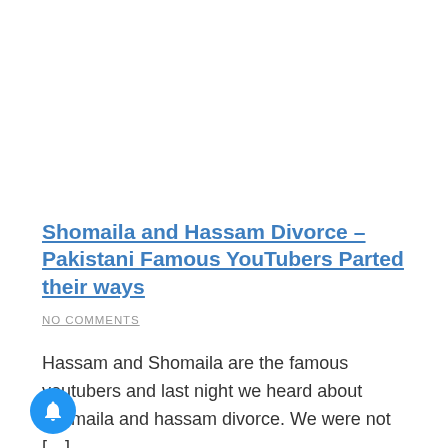Shomaila and Hassam Divorce – Pakistani Famous YouTubers Parted their ways
NO COMMENTS
Hassam and Shomaila are the famous youtubers and last night we heard about shomaila and hassam divorce. We were not […]